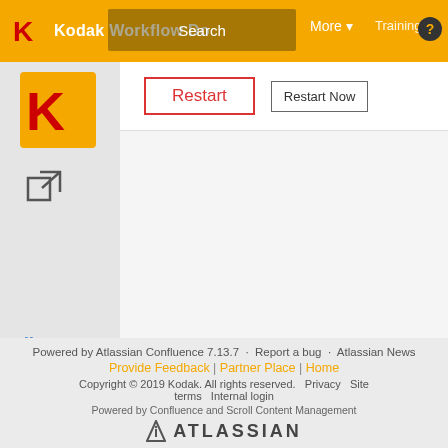Kodak Workflow Documentation | Search | More | Training Catalog
[Figure (screenshot): Kodak logo (red K on orange square) in sidebar]
[Figure (screenshot): External link icon in sidebar]
[Figure (screenshot): Restart button (red text, white background) and Restart Now button]
No labels
Powered by Atlassian Confluence 7.13.7 · Report a bug · Atlassian News
Provide Feedback | Partner Place | Home
Copyright © 2019 Kodak. All rights reserved. Privacy Site terms Internal login
Powered by Confluence and Scroll Content Management
[Figure (logo): Atlassian logo with triangle icon and ATLASSIAN text]